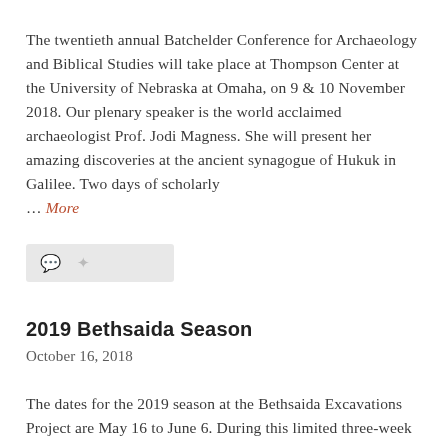The twentieth annual Batchelder Conference for Archaeology and Biblical Studies will take place at Thompson Center at the University of Nebraska at Omaha, on 9 & 10 November 2018. Our plenary speaker is the world acclaimed archaeologist Prof. Jodi Magness. She will present her amazing discoveries at the ancient synagogue of Hukuk in Galilee. Two days of scholarly … More
[Figure (other): Icon bar with comment and link icons on a light gray background]
2019 Bethsaida Season
October 16, 2018
The dates for the 2019 season at the Bethsaida Excavations Project are May 16 to June 6. During this limited three-week